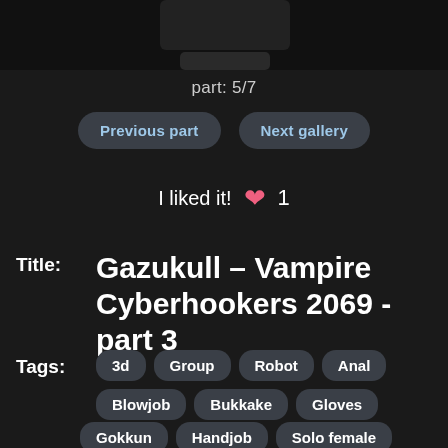[Figure (photo): Partial dark image at top of page]
part: 5/7
Previous part
Next gallery
I liked it!  ♥  1
Title:  Gazukull – Vampire Cyberhookers 2069 - part 3
Tags:  3d  Group  Robot  Anal  Blowjob  Bukkake  Gloves  Gokkun  Handjob  Solo female